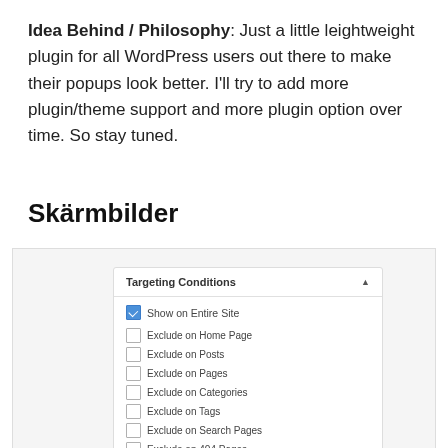Idea Behind / Philosophy: Just a little leightweight plugin for all WordPress users out there to make their popups look better. I'll try to add more plugin/theme support and more plugin option over time. So stay tuned.
Skärmbilder
[Figure (screenshot): Screenshot of a WordPress plugin settings interface showing a 'Targeting Conditions' panel with a checked 'Show on Entire Site' checkbox and unchecked options: Exclude on Home Page, Exclude on Posts, Exclude on Pages, Exclude on Categories, Exclude on Tags, Exclude on Search Pages, Exclude on 404 Pages. Below it is a 'PopUp Effect' panel header.]